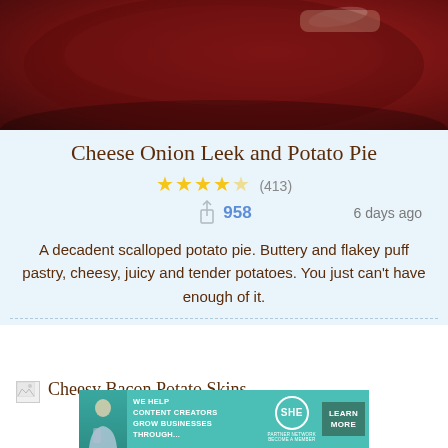[Figure (photo): Close-up photo of a dark red/maroon cheese onion leek and potato pie in a pie dish, viewed from above]
Cheese Onion Leek and Potato Pie
★★★★☆ (413)
↑ 958   6 days ago
A decadent scalloped potato pie. Buttery and flakey puff pastry, cheesy, juicy and tender potatoes. You just can't have enough of it.
[Figure (other): Broken image placeholder thumbnail for Cheesy Bacon Potato Skins recipe]
Cheesy Bacon Potato Skins
[Figure (other): SHE Partner Network advertisement banner: 'We help content creators grow businesses through...' with a Learn More button]